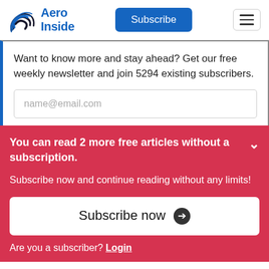Aero Inside
Want to know more and stay ahead? Get our free weekly newsletter and join 5294 existing subscribers.
name@email.com
You can read 2 more free articles without a subscription.
Subscribe now and continue reading without any limits!
Subscribe now →
Are you a subscriber? Login